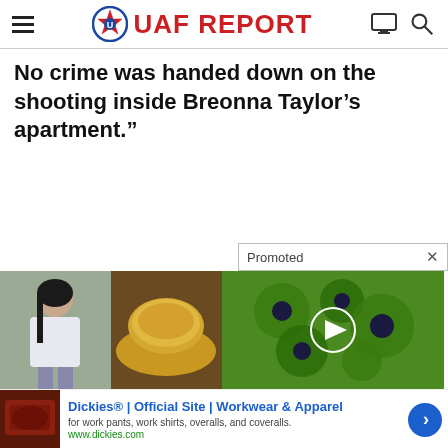UAF REPORT
No crime was handed down on the shooting inside Breonna Taylor’s apartment.”
[Figure (screenshot): Promoted advertisement placeholder with two thumbnail images on left (woman, yellow powder) and a video thumbnail on right (green plant close-up with play button)]
[Figure (screenshot): Dickies banner ad: Dickies® | Official Site | Workwear & Apparel, for work pants, work shirts, overalls, and coveralls. www.dickies.com]